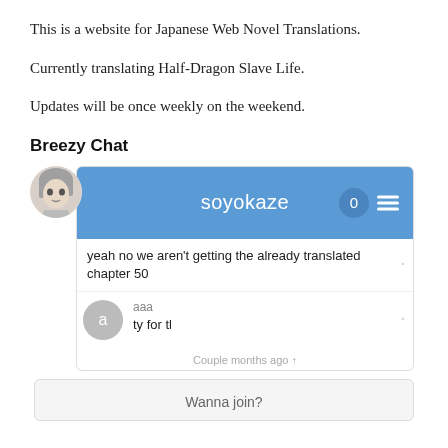This is a website for Japanese Web Novel Translations.
Currently translating Half-Dragon Slave Life.
Updates will be once weekly on the weekend.
Breezy Chat
[Figure (screenshot): Chat widget showing 'soyokaze' header with badge '0' and hamburger menu, messages: 'yeah no we aren't getting the already translated chapter 50' and 'aaa: ty for tl', timestamp 'Couple months ago ↑', and a 'Wanna join?' join box at bottom.]